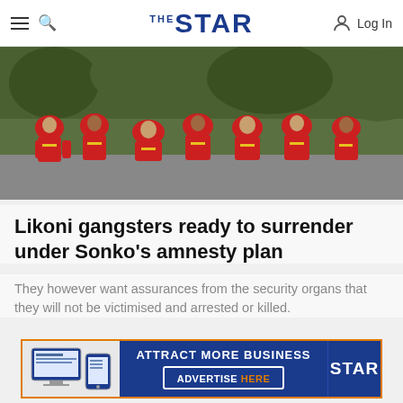THE STAR — Log In
[Figure (photo): Group of people in red and yellow uniforms/jumpsuits sitting on a roadside or steps outdoors]
Likoni gangsters ready to surrender under Sonko's amnesty plan
They however want assurances from the security organs that they will not be victimised and arrested or killed.
COUNTIES   3 MONTHS AGO
[Figure (infographic): Advertisement banner: ATTRACT MORE BUSINESS — ADVERTISE HERE — The Star logo]